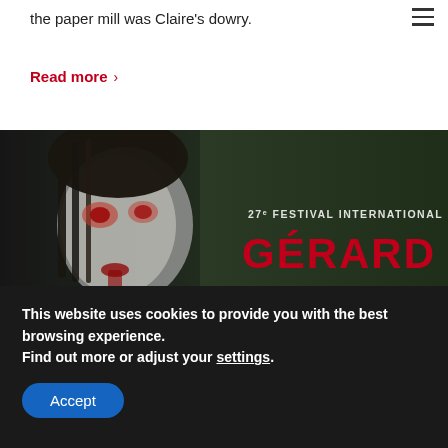the paper mill was Claire's dowry.
Read more >
[Figure (photo): Film festival promotional image showing a pale horror figure with dark eyes and red mouth wounds, with text overlay: 27e FESTIVAL INTERNATIONAL DU FIL... / GÉRARD... / DU 29 JANVIER AU 2 FÉVRIE...]
This website uses cookies to provide you with the best browsing experience.
Find out more or adjust your settings.
Accept